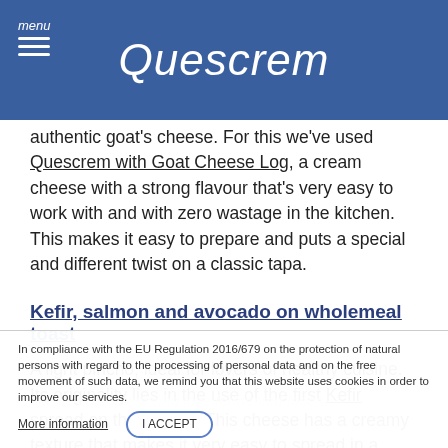[Figure (logo): Quescrem logo in white cursive font on blue background, with hamburger menu icon labeled 'menu' on the left]
authentic goat's cheese. For this we've used Quescrem with Goat Cheese Log, a cream cheese with a strong flavour that's very easy to work with and with zero wastage in the kitchen. This makes it easy to prepare and puts a special and different twist on a classic tapa.
Kefir, salmon and avocado on wholemeal toast
A light pincho, ideal for lovers of healthy cuisine. Its originality lies in the use of the first Kefir spread on the market. This cheese has a creamy texture that makes it very easy to spread in a number of different ways to delight customers who love fermented foods.
In compliance with the EU Regulation 2016/679 on the protection of natural persons with regard to the processing of personal data and on the free movement of such data, we remind you that this website uses cookies in order to improve our services. More information I ACCEPT